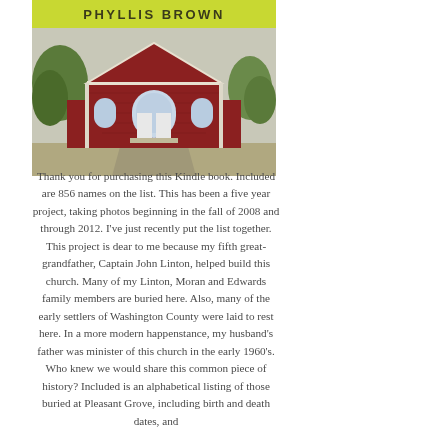[Figure (photo): Book cover showing a red brick church building with arched windows and white doors, surrounded by trees. Yellow-green banner at top reads 'PHYLLIS BROWN']
Thank you for purchasing this Kindle book. Included are 856 names on the list. This has been a five year project, taking photos beginning in the fall of 2008 and through 2012. I've just recently put the list together. This project is dear to me because my fifth great-grandfather, Captain John Linton, helped build this church. Many of my Linton, Moran and Edwards family members are buried here. Also, many of the early settlers of Washington County were laid to rest here. In a more modern happenstance, my husband's father was minister of this church in the early 1960's. Who knew we would share this common piece of history? Included is an alphabetical listing of those buried at Pleasant Grove, including birth and death dates, and